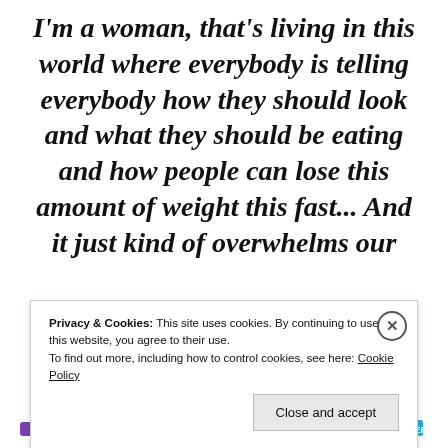I'm a woman, that's living in this world where everybody is telling everybody how they should look and what they should be eating and how people can lose this amount of weight this fast... And it just kind of overwhelms our
Privacy & Cookies: This site uses cookies. By continuing to use this website, you agree to their use. To find out more, including how to control cookies, see here: Cookie Policy
Close and accept